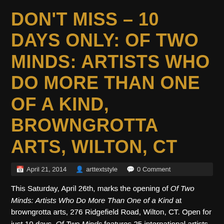DON'T MISS – 10 DAYS ONLY: OF TWO MINDS: ARTISTS WHO DO MORE THAN ONE OF A KIND, BROWNGROTTA ARTS, WILTON, CT
April 21, 2014   arttextstyle   0 Comment
This Saturday, April 26th, marks the opening of Of Two Minds: Artists Who Do More Than One of a Kind at browngrotta arts, 276 Ridgefield Road, Wilton, CT. Open for just 10 days, Of Two Minds features 25 international artists working in a a variety of media, including, glass, wood, watercolor, metal and fiber. The artists in the exhibition show remarkable range, working in different mediums, mastering different techniques and materials and creating complementary or contrasting works along the way. "Painters paint, sculptors sculpt, but the textile and mixed media artists in Of Two Minds are less